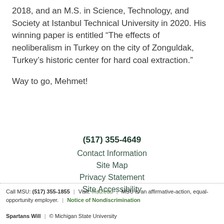2018, and an M.S. in Science, Technology, and Society at Istanbul Technical University in 2020. His winning paper is entitled “The effects of neoliberalism in Turkey on the city of Zonguldak, Turkey’s historic center for hard coal extraction.”
Way to go, Mehmet!
(517) 355-4649
Contact Information
Site Map
Privacy Statement
Site Accessibility
Call MSU: (517) 355-1855 | Visit: msu.edu | MSU is an affirmative-action, equal-opportunity employer. | Notice of Nondiscrimination
Spartans Will | © Michigan State University